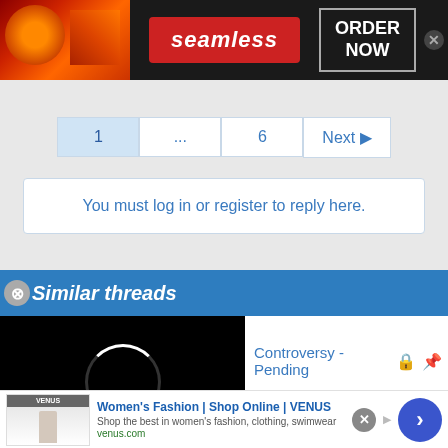[Figure (screenshot): Seamless food delivery advertisement banner with pizza image on left, seamless logo in red center, and ORDER NOW button on right with close X button]
[Figure (screenshot): Pagination controls showing page 1 (active), ellipsis, page 6, and Next button with arrow]
You must log in or register to reply here.
Similar threads
[Figure (screenshot): Video player loading spinner (white circle ring on black background)]
Controversy - Pending
[Figure (screenshot): Women's Fashion | Shop Online | VENUS advertisement. Shop the best in women's fashion, clothing, swimwear. venus.com]